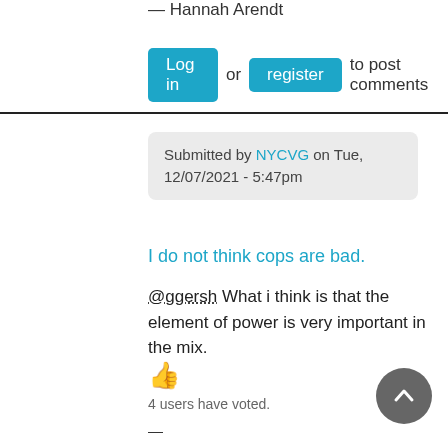— Hannah Arendt
Log in or register to post comments
Submitted by NYCVG on Tue, 12/07/2021 - 5:47pm
I do not think cops are bad.
@ggersh What i think is that the element of power is very important in the mix.
👍
4 users have voted.
—
NYCVG